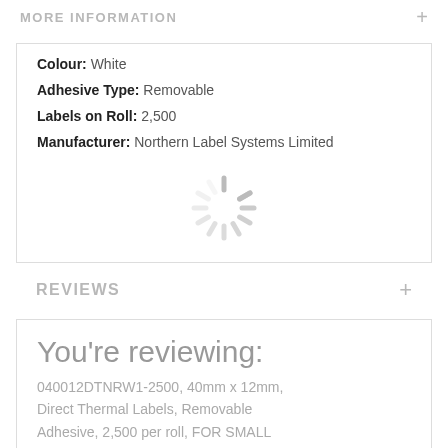MORE INFORMATION +
Colour: White
Adhesive Type: Removable
Labels on Roll: 2,500
Manufacturer: Northern Label Systems Limited
[Figure (other): Loading spinner / activity indicator graphic in gray]
REVIEWS +
You're reviewing:
040012DTNRW1-2500, 40mm x 12mm, Direct Thermal Labels, Removable Adhesive, 2,500 per roll, FOR SMALL